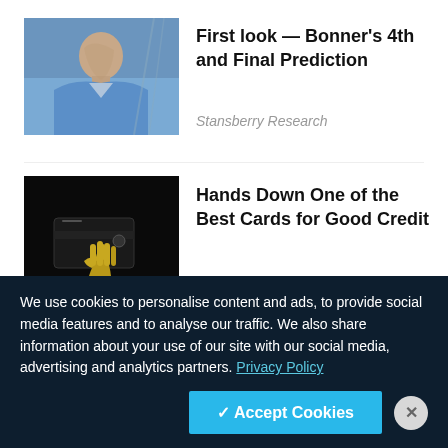[Figure (photo): Older man in a blue shirt against a blue background]
First look — Bonner's 4th and Final Prediction
Stansberry Research
[Figure (photo): Golden trophy hand holding a black credit card against a dark background]
Hands Down One of the Best Cards for Good Credit
The Ascent
[Figure (photo): Older man smiling in front of a yellow/golden background]
Crypto Millionaire Spills Secrets Angering Other
We use cookies to personalise content and ads, to provide social media features and to analyse our traffic. We also share information about your use of our site with our social media, advertising and analytics partners. Privacy Policy
✓ Accept Cookies